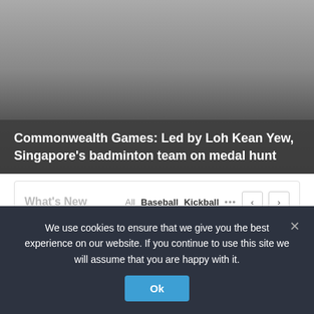[Figure (photo): Hero image of a badminton or sports scene with gradient overlay, dark background]
Commonwealth Games: Led by Loh Kean Yew, Singapore's badminton team on medal hunt
What's New
All   Baseball   Kickball   •••
[Figure (photo): Photo of an American football player wearing a helmet, crowd in background]
We use cookies to ensure that we give you the best experience on our website. If you continue to use this site we will assume that you are happy with it.
Ok